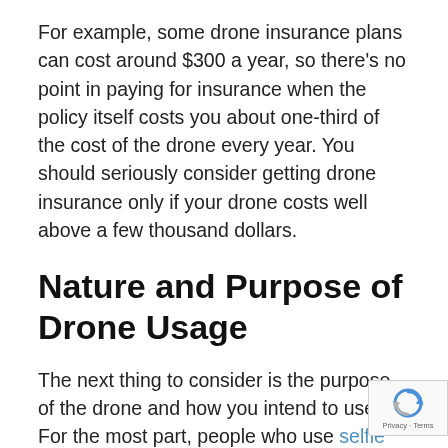For example, some drone insurance plans can cost around $300 a year, so there's no point in paying for insurance when the policy itself costs you about one-third of the cost of the drone every year. You should seriously consider getting drone insurance only if your drone costs well above a few thousand dollars.
Nature and Purpose of Drone Usage
The next thing to consider is the purpose of the drone and how you intend to use it. For the most part, people who use selfie drones or other simple drones for recreational and entertainment purposes don't really need to